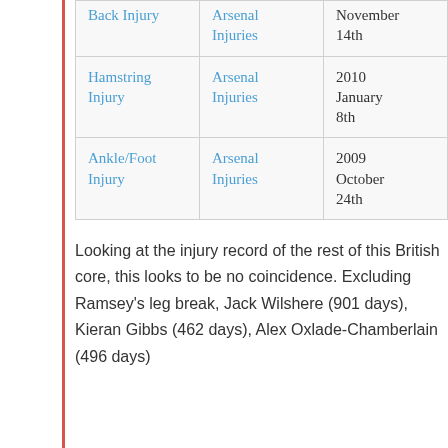| Injury Type | Category | Date |
| --- | --- | --- |
| Back Injury | Arsenal Injuries | November 14th |
| Hamstring Injury | Arsenal Injuries | 2010 January 8th |
| Ankle/Foot Injury | Arsenal Injuries | 2009 October 24th |
Looking at the injury record of the rest of this British core, this looks to be no coincidence. Excluding Ramsey's leg break, Jack Wilshere (901 days), Kieran Gibbs (462 days), Alex Oxlade-Chamberlain (496 days)